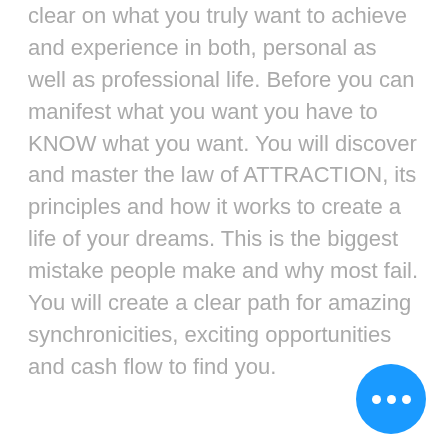clear on what you truly want to achieve and experience in both, personal as well as professional life. Before you can manifest what you want you have to KNOW what you want. You will discover and master the law of ATTRACTION, its principles and how it works to create a life of your dreams. This is the biggest mistake people make and why most fail. You will create a clear path for amazing synchronicities, exciting opportunities and cash flow to find you.
[Figure (other): Blue circular floating action button with three white dots (ellipsis) in the bottom right corner]